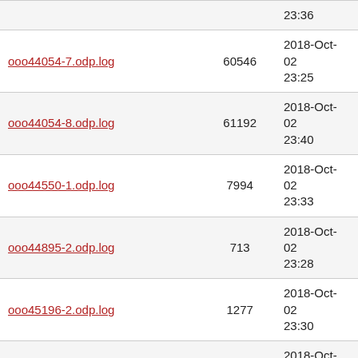| (truncated top row) |  | 23:36 |
| ooo44054-7.odp.log | 60546 | 2018-Oct-02 23:25 |
| ooo44054-8.odp.log | 61192 | 2018-Oct-02 23:40 |
| ooo44550-1.odp.log | 7994 | 2018-Oct-02 23:33 |
| ooo44895-2.odp.log | 713 | 2018-Oct-02 23:28 |
| ooo45196-2.odp.log | 1277 | 2018-Oct-02 23:30 |
| ooo45534-2.odp.log | 967 | 2018-Oct-02 23:29 |
| ooo45680-1.odp.log | 2186 | 2018-Oct-02 23:39 |
| ooo45961-2.odp.log | 3201 | 2018-Oct-02 23:32 |
| ooo46459-1.odp.log | 2749 | 2018-Oct-02 23:35 |
| ooo46492-1.odp.log | 487 | 2018-Oct-02 23:40 |
| ooo46604-1.odp.log | 463 | 2018-Oct-02 |